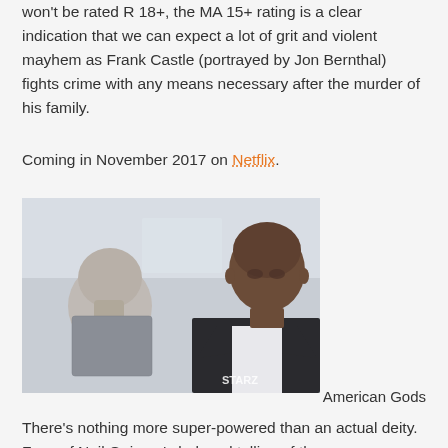won't be rated R 18+, the MA 15+ rating is a clear indication that we can expect a lot of grit and violent mayhem as Frank Castle (portrayed by Jon Bernthal) fights crime with any means necessary after the murder of his family.
Coming in November 2017 on Netflix.
[Figure (photo): Two men in a room, one facing away with a shaved head, the other in a dark suit looking intensely. STARZ watermark visible.]
American Gods
There's nothing more super-powered than an actual deity. Fans of Neil Gaiman's beloved telling of the